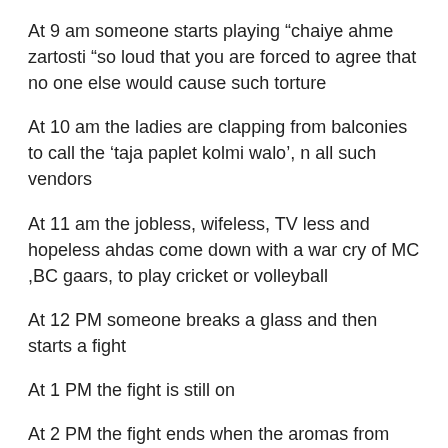At 9 am someone starts playing “chaiye ahme zartosti “so loud that you are forced to agree that no one else would cause such torture
At 10 am the ladies are clapping from balconies to call the ‘taja paplet kolmi walo’, n all such vendors
At 11 am the jobless, wifeless, TV less and hopeless ahdas come down with a war cry of MC ,BC gaars, to play cricket or volleyball
At 12 PM someone breaks a glass and then starts a fight
At 1 PM the fight is still on
At 2 PM the fight ends when the aromas from people’s kitchens reminds them that stomach is mightier than the